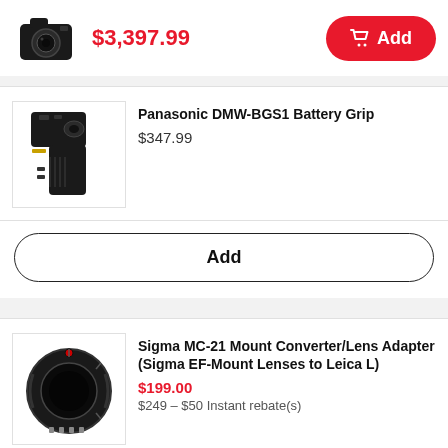$3,397.99
Add
Panasonic DMW-BGS1 Battery Grip
$347.99
Add
Sigma MC-21 Mount Converter/Lens Adapter (Sigma EF-Mount Lenses to Leica L)
$199.00
$249 – $50 Instant rebate(s)
Add